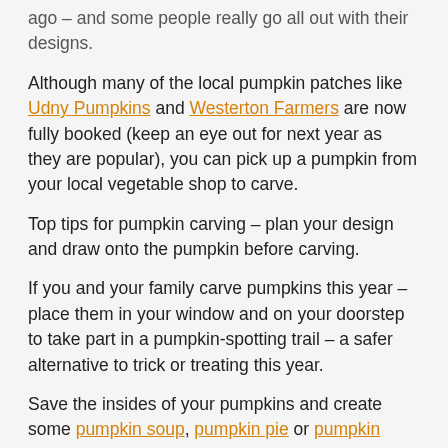ago – and some people really go all out with their designs.
Although many of the local pumpkin patches like Udny Pumpkins and Westerton Farmers are now fully booked (keep an eye out for next year as they are popular), you can pick up a pumpkin from your local vegetable shop to carve.
Top tips for pumpkin carving – plan your design and draw onto the pumpkin before carving.
If you and your family carve pumpkins this year – place them in your window and on your doorstep to take part in a pumpkin-spotting trail – a safer alternative to trick or treating this year.
Save the insides of your pumpkins and create some pumpkin soup, pumpkin pie or pumpkin seed brownies.
Make sure that you don't discard leftover pumpkins after Halloween – either put in your food waste bin, use as compost or break your pumpkins in half and use as a bird feeder. They also make great habitats for small wildlife in your garden or in the wild.